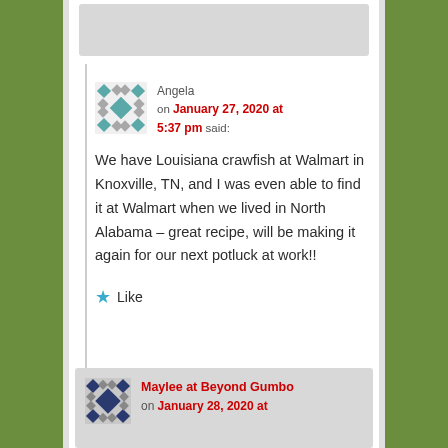[Figure (other): Gray placeholder bar at top of page]
Angela on January 27, 2020 at 5:37 pm said:
We have Louisiana crawfish at Walmart in Knoxville, TN, and I was even able to find it at Walmart when we lived in North Alabama – great recipe, will be making it again for our next potluck at work!!
Like
Maylee at Beyond Gumbo on January 28, 2020 at